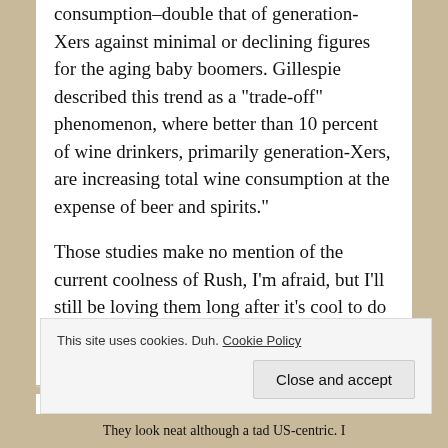consumption–double that of generation-Xers against minimal or declining figures for the aging baby boomers. Gillespie described this trend as a "trade-off" phenomenon, where better than 10 percent of wine drinkers, primarily generation-Xers, are increasing total wine consumption at the expense of beer and spirits."
Those studies make no mention of the current coolness of Rush, I'm afraid, but I'll still be loving them long after it's cool to do so. ;-)
MasterCrone says:
This site uses cookies. Duh. Cookie Policy
Close and accept
They look neat although a tad US-centric. I